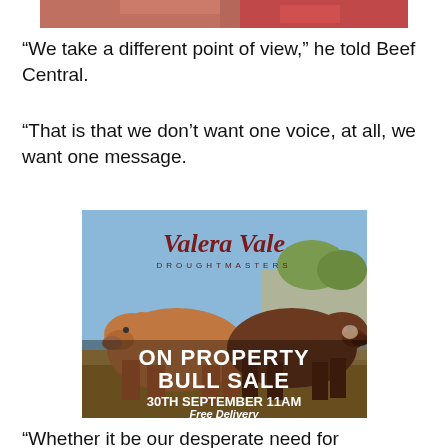[Figure (photo): Partial photo of red/pink subject cropped at top of page]
“We take a different point of view,” he told Beef Central.
“That is that we don’t want one voice, at all, we want one message.
[Figure (photo): Valera Vale Droughtmasters advertisement. Shows two Droughtmaster bulls (brown/red cattle) standing in a yard. Text overlay: 'Valera Vale DROUGHTMASTERS ON PROPERTY BULL SALE 30TH SEPTEMBER 11AM Free Delivery']
“Whether it be our desperate need for